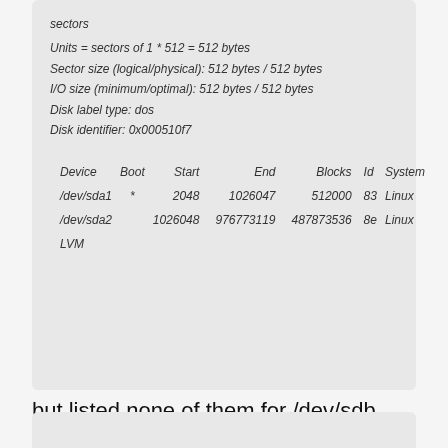sectors
Units = sectors of 1 * 512 = 512 bytes
Sector size (logical/physical): 512 bytes / 512 bytes
I/O size (minimum/optimal): 512 bytes / 512 bytes
Disk label type: dos
Disk identifier: 0x000510f7
| Device | Boot | Start | End | Blocks | Id | System |
| --- | --- | --- | --- | --- | --- | --- |
| /dev/sda1 | * | 2048 | 1026047 | 512000 | 83 | Linux |
| /dev/sda2 |  | 1026048 | 976773119 | 487873536 | 8e | Linux LVM |
but listed none of them for /dev/sdb